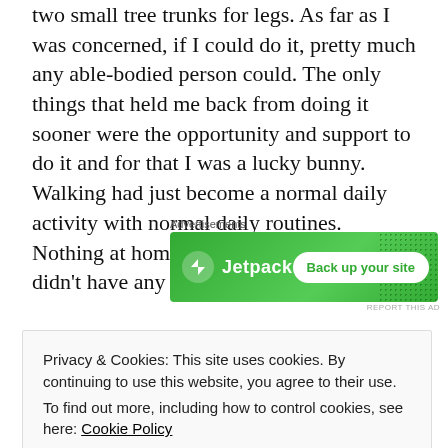two small tree trunks for legs. As far as I was concerned, if I could do it, pretty much any able-bodied person could. The only things that held me back from doing it sooner were the opportunity and support to do it and for that I was a lucky bunny. Walking had just become a normal daily activity with normal daily routines. Nothing at home would seem normal and I didn't have any routines.
[Figure (other): Jetpack advertisement banner with green background showing Jetpack logo and 'Back up your site' button]
According to all reports,
[Figure (photo): Thumbnail image preview, partially visible]
Privacy & Cookies: This site uses cookies. By continuing to use this website, you agree to their use.
To find out more, including how to control cookies, see here: Cookie Policy
Close and accept